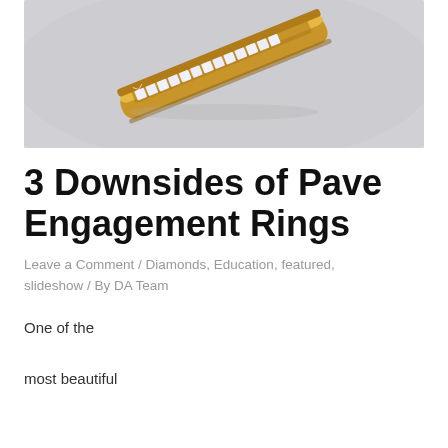[Figure (photo): A gold diamond pave band ring photographed diagonally against a light gray background. The ring features a row of small princess-cut diamonds set in yellow gold.]
3 Downsides of Pave Engagement Rings
Leave a Comment / Diamonds, Education, featured, slideshow / By DA Team
One of the most beautiful